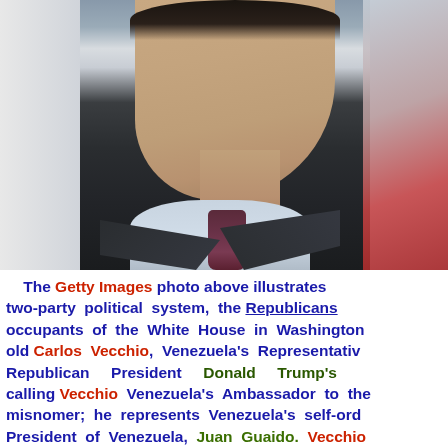[Figure (photo): A man in a dark suit with a purple/maroon tie and light blue shirt, photographed from chin/neck down. Background shows blurred elements including what appears to be a flag on the right side.]
The Getty Images photo above illustrates two-party political system, the Republicans occupants of the White House in Washington old Carlos Vecchio, Venezuela's Representativ Republican President Donald Trump's calling Vecchio Venezuela's Ambassador to the misnomer; he represents Venezuela's self-ord President of Venezuela, Juan Guaido. Vecchio Washington; he's been there throughout Trum